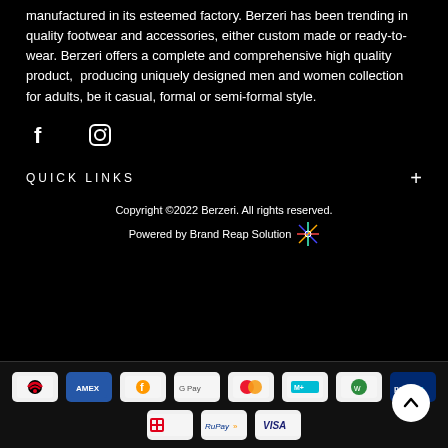manufactured in its esteemed factory. Berzeri has been trending in quality footwear and accessories, either custom made or ready-to-wear. Berzeri offers a complete and comprehensive high quality product, producing uniquely designed men and women collection for adults, be it casual, formal or semi-formal style.
[Figure (other): Social media icons: Facebook (f) and Instagram (camera icon)]
QUICK LINKS
Copyright ©2022 Berzeri. All rights reserved.
Powered by Brand Reap Solution
[Figure (other): Payment method logos: Airtel, Amex, Freecharge, Google Pay, Mastercard, Mobikwik, Ola Money, Paytm, BHIM, RuPay, VISA]